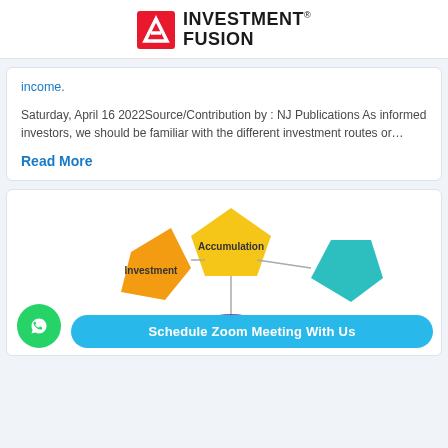INVESTMENT FUSION
income.
Saturday, April 16 2022Source/Contribution by : NJ Publications As informed investors, we should be familiar with the different investment routes or…
Read More
[Figure (infographic): Investment lifecycle infographic showing pentagon-shaped nodes labeled Accumulation (yellow, top), Investment (orange, left), and a teal pentagon (right), with a purple circle at bottom. Overlaid with a green WhatsApp button and a cyan 'Schedule Zoom Meeting With Us' button.]